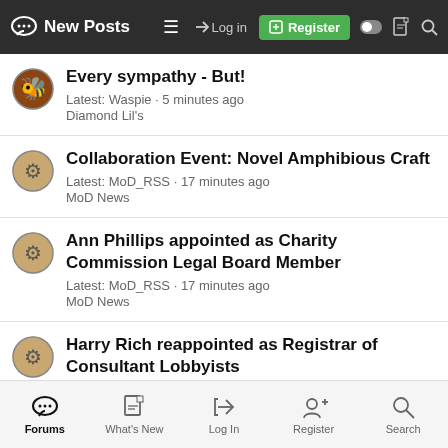New Posts | Log in | Register
Every sympathy - But!
Latest: Waspie · 5 minutes ago
Diamond Lil's
Collaboration Event: Novel Amphibious Craft
Latest: MoD_RSS · 17 minutes ago
MoD News
Ann Phillips appointed as Charity Commission Legal Board Member
Latest: MoD_RSS · 17 minutes ago
MoD News
Harry Rich reappointed as Registrar of Consultant Lobbyists
Latest: MoD_RSS · 17 minutes ago
MoD News
Forums | What's New | Log In | Register | Search